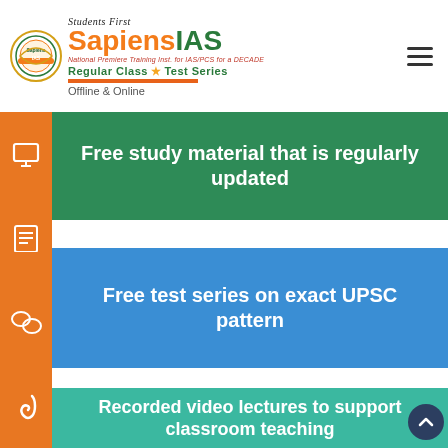[Figure (logo): Sapiens IAS logo with circular emblem, brand name 'Sapiens IAS', tagline 'Students First', 'National Premiere Training Inst. for IAS/PCS for a DECADE', 'Regular Class ★ Test Series', 'Offline & Online']
Free study material that is regularly updated
Free test series on exact UPSC pattern
Recorded video lectures to support classroom teaching